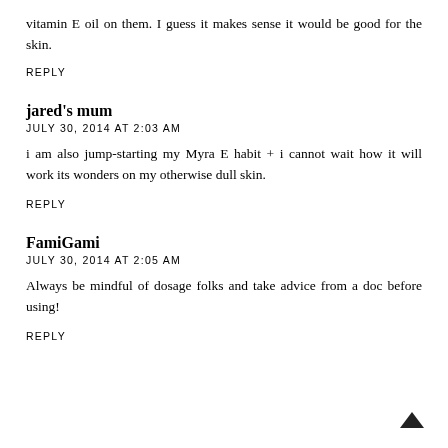vitamin E oil on them. I guess it makes sense it would be good for the skin.
REPLY
jared's mum
JULY 30, 2014 AT 2:03 AM
i am also jump-starting my Myra E habit + i cannot wait how it will work its wonders on my otherwise dull skin.
REPLY
FamiGami
JULY 30, 2014 AT 2:05 AM
Always be mindful of dosage folks and take advice from a doc before using!
REPLY